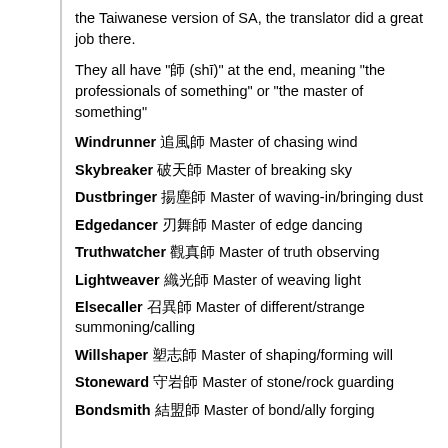the Taiwanese version of SA, the translator did a great job there.
They all have "師 (shī)" at the end, meaning "the professionals of something" or "the master of something"
Windrunner 追風師 Master of chasing wind
Skybreaker 破天師 Master of breaking sky
Dustbringer 揚塵師 Master of waving-in/bringing dust
Edgedancer 刃舞師 Master of edge dancing
Truthwatcher 觀真師 Master of truth observing
Lightweaver 織光師 Master of weaving light
Elsecaller 召異師 Master of different/strange summoning/calling
Willshaper 塑志師 Master of shaping/forming will
Stoneward 守岩師 Master of stone/rock guarding
Bondsmith 結盟師 Master of bond/ally forging